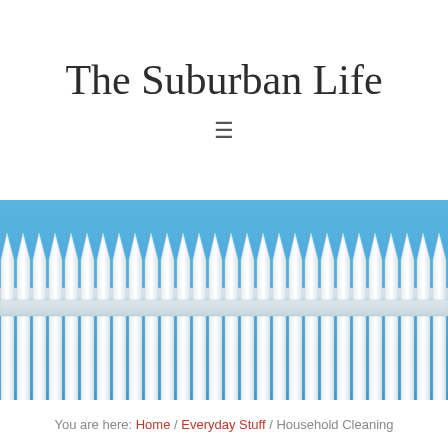The Suburban Life
[Figure (illustration): White picket fence illustration against a blue sky background, showing pointed fence pickets along the top and vertical slats below, rendered in white and light grey tones with blue gaps between slats.]
You are here: Home / Everyday Stuff / Household Cleaning